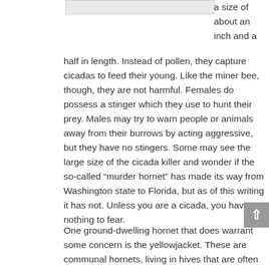[Figure (photo): Partial image placeholder at top of page (cropped image, appears as light gray rectangle)]
a size of about an inch and a half in length. Instead of pollen, they capture cicadas to feed their young. Like the miner bee, though, they are not harmful. Females do possess a stinger which they use to hunt their prey. Males may try to warn people or animals away from their burrows by acting aggressive, but they have no stingers. Some may see the large size of the cicada killer and wonder if the so-called “murder hornet” has made its way from Washington state to Florida, but as of this writing it has not. Unless you are a cicada, you have nothing to fear.
One ground-dwelling hornet that does warrant some concern is the yellowjacket. These are communal hornets, living in hives that are often build underground. Yellowjackets are known for their bad attitudes, attacking anyone who disturbs the entrance to their nest. They can be beneficial, being predators of many other insects including plant pests. A colony